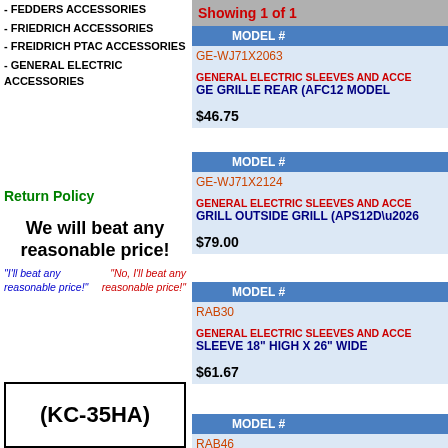- FEDDERS ACCESSORIES
- FRIEDRICH ACCESSORIES
- FREIDRICH PTAC ACCESSORIES
- GENERAL ELECTRIC ACCESSORIES
Showing 1 of 1
Return Policy
We will beat any reasonable price!
"I'll beat any reasonable price!"
"No, I'll beat any reasonable price!"
(KC-35HA)
| MODEL # |
| --- |
| GE-WJ71X2063 | GENERAL ELECTRIC SLEEVES AND ACCE | GE GRILLE REAR (AFC12 MODEL | $46.75 |
| GE-WJ71X2124 | GENERAL ELECTRIC SLEEVES AND ACCE | GRILL OUTSIDE GRILL (APS12D… | $79.00 |
| RAB30 | GENERAL ELECTRIC SLEEVES AND ACCE | SLEEVE 18" HIGH X 26" WIDE | $61.67 |
| RAB46 |  |  |  |